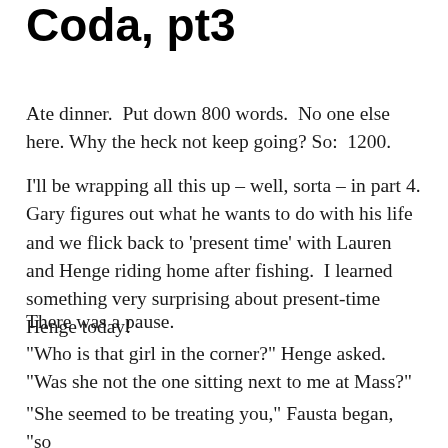Coda, pt3
Ate dinner.  Put down 800 words.  No one else here.  Why the heck not keep going? So:  1200.
I'll be wrapping all this up – well, sorta – in part 4.  Gary figures out what he wants to do with his life and we flick back to ‘present time’ with Lauren and Henge riding home after fishing.  I learned something very surprising about present-time Henge today!
There was a pause.
“Who is that girl in the corner?” Henge asked. “Was she not the one sitting next to me at Mass?”
“She seemed to be treating you,” Fausta began, “so